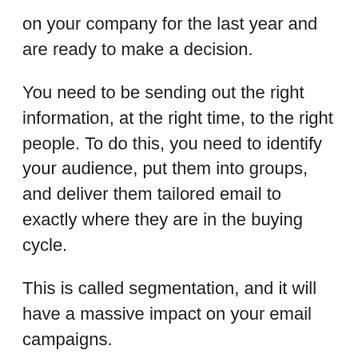on your company for the last year and are ready to make a decision.
You need to be sending out the right information, at the right time, to the right people. To do this, you need to identify your audience, put them into groups, and deliver them tailored email to exactly where they are in the buying cycle.
This is called segmentation, and it will have a massive impact on your email campaigns.
Recipients are 75% more likely to click on emails from segmented campaigns than non-segmented campaigns. (MailChimp, 2017)